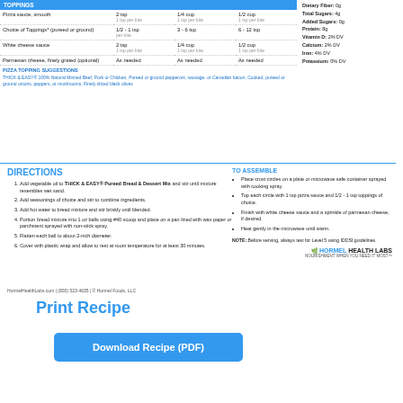| TOPPINGS |  |  |  |
| --- | --- | --- | --- |
| Pizza sauce, smooth | 2 tsp
1 tsp per bite | 1/4 cup
1 tsp per bite | 1/2 cup
1 tsp per bite |
| Choice of Toppings* (pureed or ground) | 1/2 - 1 tsp per bite | 3 - 6 tsp | 6 - 12 tsp |
| White cheese sauce | 2 tsp
1 tsp per bite | 1/4 cup
1 tsp per bite | 1/2 cup
1 tsp per bite |
| Parmesan cheese, finely grated (optional) | As needed | As needed | As needed |
PIZZA TOPPING SUGGESTIONS
THICK & EASY® 100% Natural Minced Beef, Pork or Chicken, Pureed or ground pepperoni, sausage, or Canadian bacon, Cooked, pureed or ground onions, peppers, or mushrooms, Finely sliced black olives
Dietary Fiber: 0g
Total Sugars: 4g
Added Sugars: 0g
Protein: 8g
Vitamin D: 2% DV
Calcium: 2% DV
Iron: 4% DV
Potassium: 0% DV
DIRECTIONS
Add vegetable oil to THICK & EASY® Pureed Bread & Dessert Mix and stir until mixture resembles wet sand.
Add seasonings of choice and stir to combine ingredients.
Add hot water to bread mixture and stir briskly until blended.
Portion bread mixture into 1 oz balls using #40 scoop and place on a pan lined with wax paper or parchment sprayed with non-stick spray.
Flatten each ball to about 2-inch diameter.
Cover with plastic wrap and allow to rest at room temperature for at least 30 minutes.
TO ASSEMBLE
Place crust circles on a plate or microwave safe container sprayed with cooking spray.
Top each circle with 1 tsp pizza sauce and 1/2 - 1 tsp toppings of choice.
Finish with white cheese sauce and a sprinkle of parmesan cheese, if desired.
Heat gently in the microwave until warm.
NOTE: Before serving, always test for Level 5 using IDDSI guidelines.
[Figure (logo): Hormel Health Labs logo with green leaf icon and tagline NOURISHMENT WHEN YOU NEED IT MOST]
HormelHealthLabs.com | (800) 523-4635 | © Hormel Foods, LLC
Print Recipe
Download Recipe (PDF)